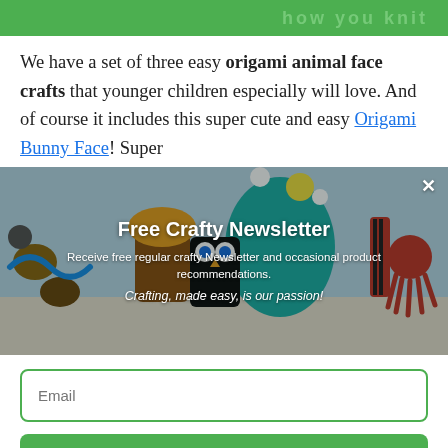[Figure (photo): Green banner at top with text 'how you knit' in lighter green letters]
We have a set of three easy origami animal face crafts that younger children especially will love. And of course it includes this super cute and easy Origami Bunny Face! Super
[Figure (photo): Photo of various craft animal figures made from toilet paper rolls and rocks, overlaid with newsletter signup popup. Newsletter title: 'Free Crafty Newsletter'. Description: 'Receive free regular crafty Newsletter and occasional product recommendations.' Tagline: 'Crafting, made easy, is our passion!']
Email
SUBSCRIBE